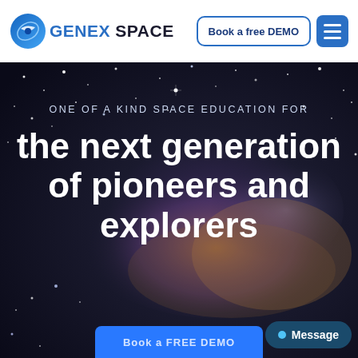[Figure (logo): Genex Space logo — circular blue planet/spacecraft icon with text GENEX SPACE]
Book a free DEMO
[Figure (screenshot): Hero section with space/galaxy background image (dark starfield with nebula cloud)]
ONE OF A KIND SPACE EDUCATION FOR
the next generation of pioneers and explorers
Book a FREE DEMO
Message